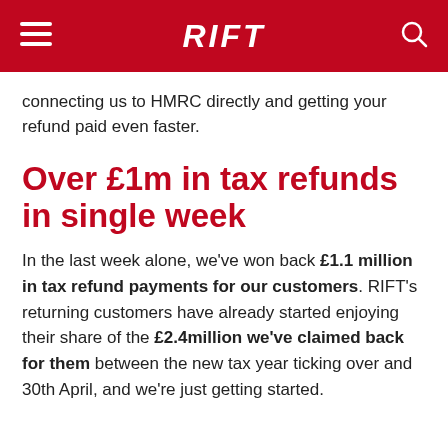RIFT
connecting us to HMRC directly and getting your refund paid even faster.
Over £1m in tax refunds in single week
In the last week alone, we've won back £1.1 million in tax refund payments for our customers. RIFT's returning customers have already started enjoying their share of the £2.4million we've claimed back for them between the new tax year ticking over and 30th April, and we're just getting started.